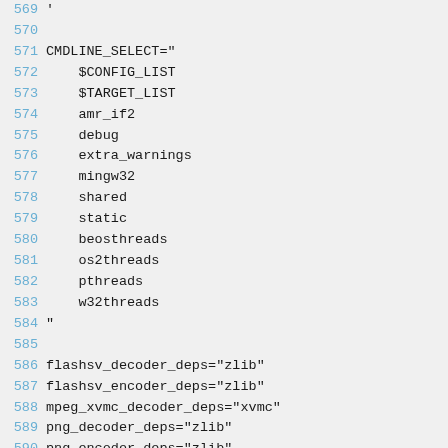569 '
570 
571 CMDLINE_SELECT="
572     $CONFIG_LIST
573     $TARGET_LIST
574     amr_if2
575     debug
576     extra_warnings
577     mingw32
578     shared
579     static
580     beosthreads
581     os2threads
582     pthreads
583     w32threads
584 "
585 
586 flashsv_decoder_deps="zlib"
587 flashsv_encoder_deps="zlib"
588 mpeg_xvmc_decoder_deps="xvmc"
589 png_decoder_deps="zlib"
590 png_encoder_deps="zlib"
591 x264_encoder_deps="x264"
592 xvid_encoder_deps="xvid"
593 zmbv_decoder_deps="zlib"